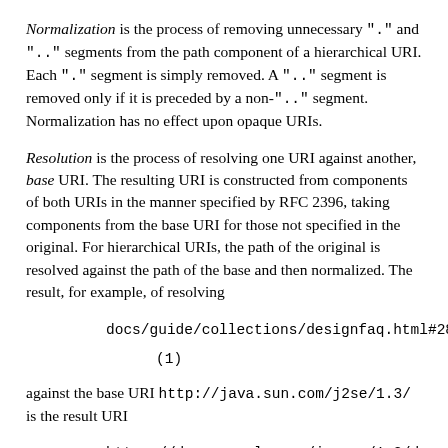Normalization is the process of removing unnecessary "." and ".." segments from the path component of a hierarchical URI. Each "." segment is simply removed. A ".." segment is removed only if it is preceded by a non-".." segment. Normalization has no effect upon opaque URIs.
Resolution is the process of resolving one URI against another, base URI. The resulting URI is constructed from components of both URIs in the manner specified by RFC 2396, taking components from the base URI for those not specified in the original. For hierarchical URIs, the path of the original is resolved against the path of the base and then normalized. The result, for example, of resolving
docs/guide/collections/designfaq.html#28
(1)
against the base URI http://java.sun.com/j2se/1.3/ is the result URI
https://docs.oracle.com/javase/1.3/docs/guide/col
Resolving the relative URI